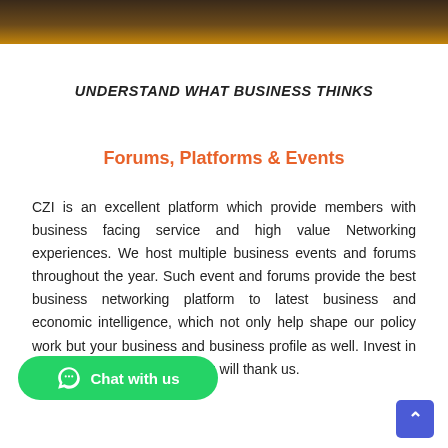[Figure (photo): Decorative photo strip at the top of the page showing warm brown and amber tones]
UNDERSTAND WHAT BUSINESS THINKS
Forums, Platforms & Events
CZI is an excellent platform which provide members with business facing service and high value Networking experiences. We host multiple business events and forums throughout the year. Such event and forums provide the best business networking platform to latest business and economic intelligence, which not only help shape our policy work but your business and business profile as well. Invest in these events and forums, you will thank us.